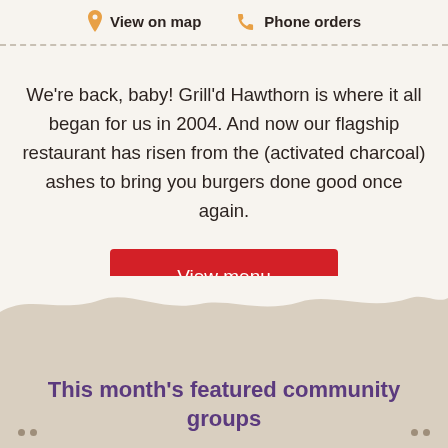View on map   Phone orders
We're back, baby! Grill'd Hawthorn is where it all began for us in 2004. And now our flagship restaurant has risen from the (activated charcoal) ashes to bring you burgers done good once again.
View menu
This month's featured community groups